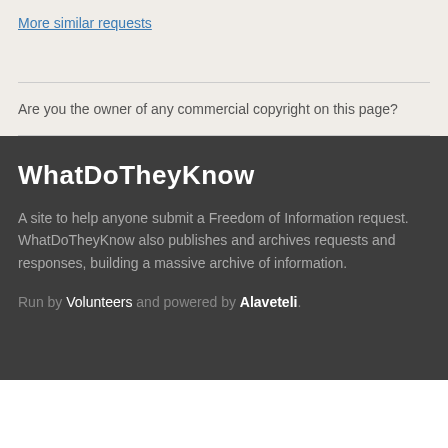More similar requests
Are you the owner of any commercial copyright on this page?
WhatDoTheyKnow
A site to help anyone submit a Freedom of Information request. WhatDoTheyKnow also publishes and archives requests and responses, building a massive archive of information.
Run by Volunteers and powered by Alaveteli.